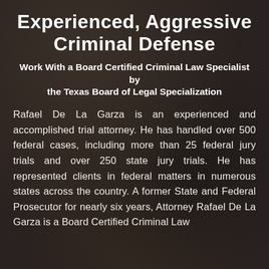Experienced, Aggressive Criminal Defense
Work With a Board Certified Criminal Law Specialist by the Texas Board of Legal Specialization
Rafael De La Garza is an experienced and accomplished trial attorney. He has handled over 500 federal cases, including more than 25 federal jury trials and over 250 state jury trials. He has represented clients in federal matters in numerous states across the country. A former State and Federal Prosecutor for nearly six years, Attorney Rafael De La Garza is a Board Certified Criminal Law